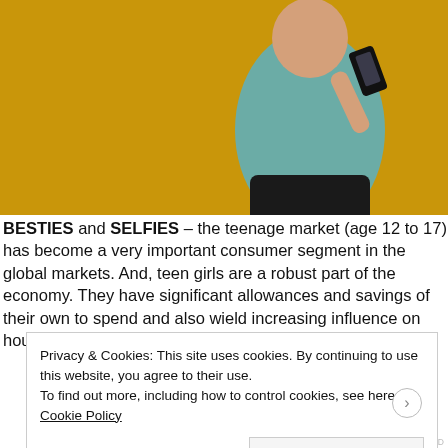[Figure (photo): Person in light blue shirt holding a phone against a yellow background]
BESTIES and SELFIES – the teenage market (age 12 to 17) has become a very important consumer segment in the global markets. And, teen girls are a robust part of the economy. They have significant allowances and savings of their own to spend and also wield increasing influence on household purchases. READ MORE>>
Advertisements
[Figure (other): Advertisement banner showing text 'Business in']
Privacy & Cookies: This site uses cookies. By continuing to use this website, you agree to their use.
To find out more, including how to control cookies, see here: Cookie Policy
Close and accept